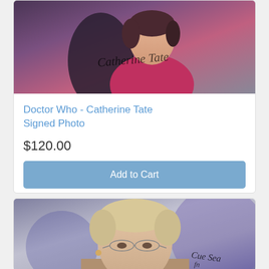[Figure (photo): Signed photo of Catherine Tate from Doctor Who, showing a woman with dark hair in a pink/magenta top with a handwritten signature overlay]
Doctor Who - Catherine Tate Signed Photo
$120.00
Add to Cart
[Figure (photo): Signed photo of an older woman with short blonde/grey hair and glasses, with a signature in the lower right corner]